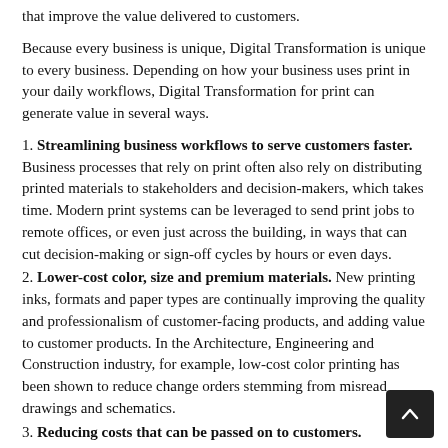that improve the value delivered to customers.
Because every business is unique, Digital Transformation is unique to every business. Depending on how your business uses print in your daily workflows, Digital Transformation for print can generate value in several ways.
1. Streamlining business workflows to serve customers faster. Business processes that rely on print often also rely on distributing printed materials to stakeholders and decision-makers, which takes time. Modern print systems can be leveraged to send print jobs to remote offices, or even just across the building, in ways that can cut decision-making or sign-off cycles by hours or even days.
2. Lower-cost color, size and premium materials. New printing inks, formats and paper types are continually improving the quality and professionalism of customer-facing products, and adding value to customer products. In the Architecture, Engineering and Construction industry, for example, low-cost color printing has been shown to reduce change orders stemming from misread drawings and schematics.
3. Reducing costs that can be passed on to customers. Companies that adopt Managed Print Services are typically saving from 20-30% on the cost of printing. When these reductions in cost can be passed on to customers, you're generating value for customers, which is the heart of Digital Transformation.